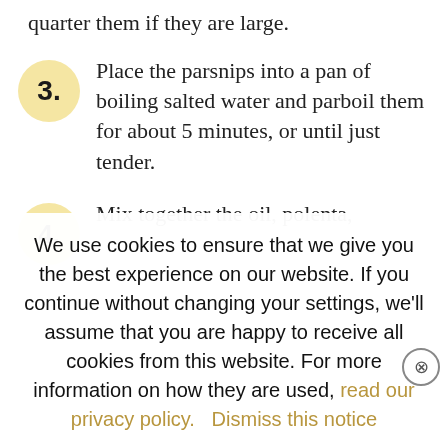quarter them if they are large.
3. Place the parsnips into a pan of boiling salted water and parboil them for about 5 minutes, or until just tender.
4. Mix together the oil, polenta,
We use cookies to ensure that we give you the best experience on our website. If you continue without changing your settings, we'll assume that you are happy to receive all cookies from this website. For more information on how they are used, read our privacy policy.    Dismiss this notice